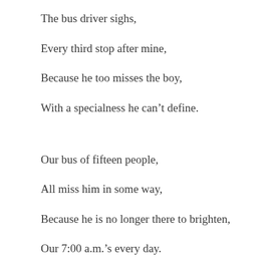The bus driver sighs,
Every third stop after mine,
Because he too misses the boy,
With a specialness he can’t define.
Our bus of fifteen people,
All miss him in some way,
Because he is no longer there to brighten,
Our 7:00 a.m.’s every day.